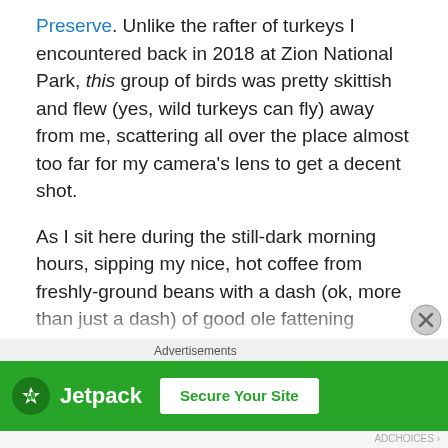Preserve. Unlike the rafter of turkeys I encountered back in 2018 at Zion National Park, this group of birds was pretty skittish and flew (yes, wild turkeys can fly) away from me, scattering all over the place almost too far for my camera's lens to get a decent shot.
As I sit here during the still-dark morning hours, sipping my nice, hot coffee from freshly-ground beans with a dash (ok, more than just a dash) of good ole fattening cream, I think about what I am thankful for on this day (good coffee is one of those things). I am thankful for much, not just on this day, but every day. However, Thanksgiving, like Christmas, tends to laser-focus one's attention more on whatever it is that a particular holiday espouses.
[Figure (other): Jetpack advertisement banner with green background, Jetpack logo and 'Secure Your Site' button]